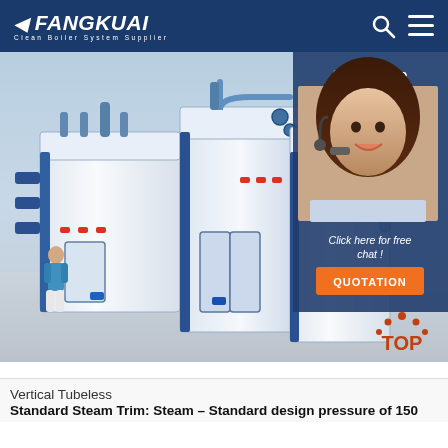FANGKUAI Clean Boiler System Supplier
[Figure (photo): Industrial vertical tubeless steam boilers rendered in 3D, white units with blue trim and pipework, with a human figure for scale. Overlay panel on the right shows a customer service agent wearing a headset with '24/7 Online', 'Click here for free chat!', and 'QUOTATION' button. A 'TOP' icon appears at the bottom right.]
Vertical Tubeless
Standard Steam Trim: Steam – Standard design pressure of 150